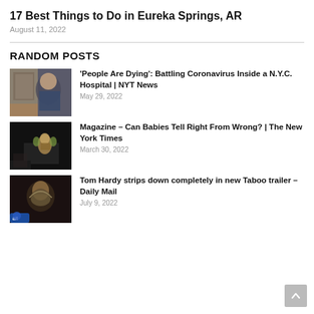17 Best Things to Do in Eureka Springs, AR
August 11, 2022
RANDOM POSTS
[Figure (photo): Person wearing a medical mask outside a city building]
'People Are Dying': Battling Coronavirus Inside a N.Y.C. Hospital | NYT News
May 29, 2022
[Figure (photo): Dark stage with a small animal puppet figure]
Magazine – Can Babies Tell Right From Wrong? | The New York Times
March 30, 2022
[Figure (photo): Dark image with a bird or creature figure, Daily Mail logo visible]
Tom Hardy strips down completely in new Taboo trailer – Daily Mail
July 9, 2022